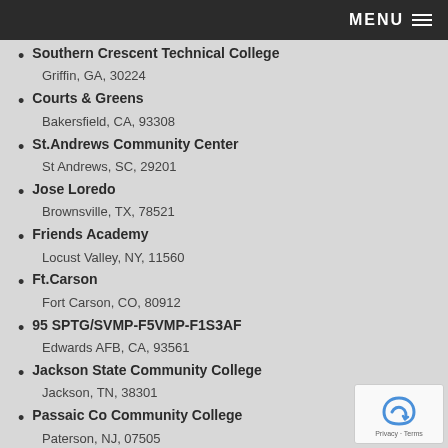MENU
Southern Crescent Technical College
Griffin, GA, 30224
Courts & Greens
Bakersfield, CA, 93308
St.Andrews Community Center
St Andrews, SC, 29201
Jose Loredo
Brownsville, TX, 78521
Friends Academy
Locust Valley, NY, 11560
Ft.Carson
Fort Carson, CO, 80912
95 SPTG/SVMP-F5VMP-F1S3AF
Edwards AFB, CA, 93561
Jackson State Community College
Jackson, TN, 38301
Passaic Co Community College
Paterson, NJ, 07505
C & L Electric
Bay Shore, NY, 11706